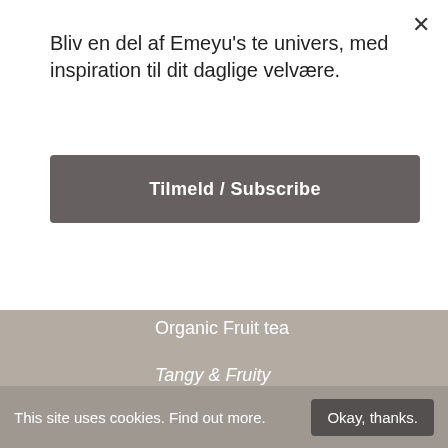Bliv en del af Emeyu's te univers, med inspiration til dit daglige velvære.
Tilmeld / Subscribe
Organic Fruit tea
Tangy & Fruity
Caffein Free
[Figure (illustration): White/off-white product image area (partial, cut off at bottom)]
This site uses cookies. Find out more.
Okay, thanks.